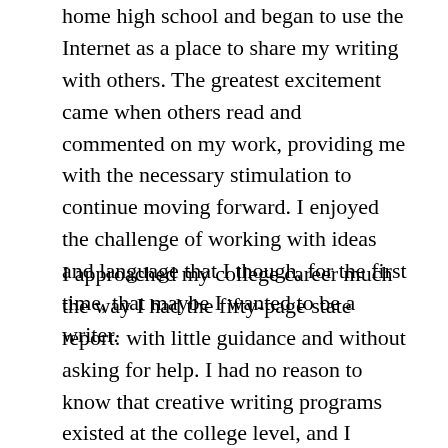home high school and began to use the Internet as a place to share my writing with others. The greatest excitement came when others read and commented on my work, providing me with the necessary stimulation to continue moving forward. I enjoyed the challenge of working with ideas and language that I though, for the first time, that maybe I wanted to be a writer.
I approached my college career much the way I had the fifty-page state report: with little guidance and without asking for help. I had no reason to know that creative writing programs existed at the college level, and I believed that anyone who wanted to write had to major in English. As far as I could tell, English major in